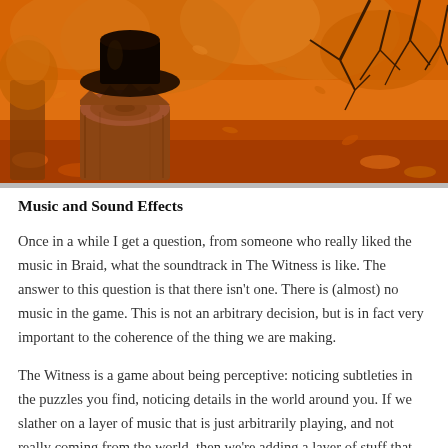[Figure (illustration): A stylized video game screenshot showing a tree stump in an autumnal forest scene with orange and amber foliage, warm golden lighting, and bare branches visible in the background.]
Music and Sound Effects
Once in a while I get a question, from someone who really liked the music in Braid, what the soundtrack in The Witness is like. The answer to this question is that there isn't one. There is (almost) no music in the game. This is not an arbitrary decision, but is in fact very important to the coherence of the thing we are making.
The Witness is a game about being perceptive: noticing subtleties in the puzzles you find, noticing details in the world around you. If we slather on a layer of music that is just arbitrarily playing, and not really coming from the world, then we're adding a layer of stuff that works against the game. It'd be like a layer of insulation that you have to hear through in